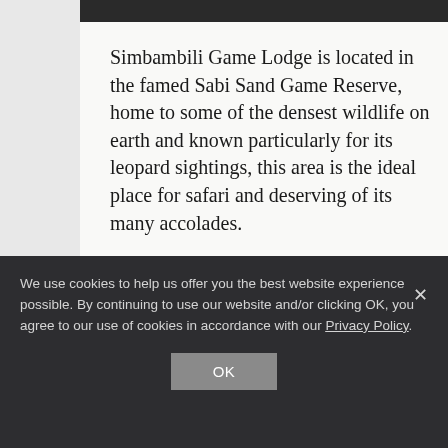Simbambili Game Lodge is located in the famed Sabi Sand Game Reserve, home to some of the densest wildlife on earth and known particularly for its leopard sightings, this area is the ideal place for safari and deserving of its many accolades.
Blending seamlessly with its environment, Simbambili Game Lodge brings the essence of Africa to life with sophisticated suites, each offering spectacular seasonal riverbed views, as well as
We use cookies to help us offer you the best website experience possible. By continuing to use our website and/or clicking OK, you agree to our use of cookies in accordance with our Privacy Policy.